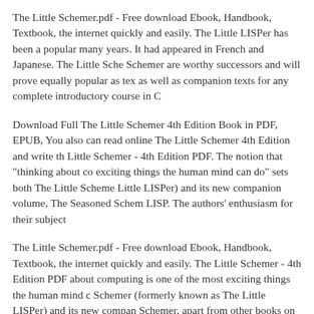The Little Schemer.pdf - Free download Ebook, Handbook, Textbook, the internet quickly and easily. The Little LISPer has been a popular many years. It had appeared in French and Japanese. The Little Schemer are worthy successors and will prove equally popular as texts as well as companion texts for any complete introductory course in C
Download Full The Little Schemer 4th Edition Book in PDF, EPUB, You also can read online The Little Schemer 4th Edition and write the Little Schemer - 4th Edition PDF. The notion that "thinking about computing is one of the most exciting things the human mind can do" sets both The Little Schemer (formerly known as The Little LISPer) and its new companion volume, The Seasoned Schemer, apart from other books on LISP. The authors' enthusiasm for their subject
The Little Schemer.pdf - Free download Ebook, Handbook, Textbook, the internet quickly and easily. The Little Schemer - 4th Edition PDF. thinking about computing is one of the most exciting things the human mind can do. Schemer (formerly known as The Little LISPer) and its new companion Schemer, apart from other books on LISP. The authors' enthusiasm for